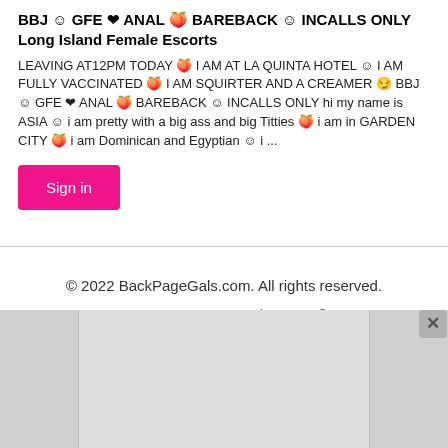BBJ ☺ GFE ❤ ANAL 🍑 BAREBACK ☺ INCALLS ONLY Long Island Female Escorts
LEAVING AT12PM TODAY 🍑 I AM AT LA QUINTA HOTEL ☺ I AM FULLY VACCINATED 🍑 I AM SQUIRTER AND A CREAMER 😏 BBJ ☺ GFE ❤ ANAL 🍑 BAREBACK ☺ INCALLS ONLY hi my name is ASIA ☺ i am pretty with a big ass and big Titties 🍑 i am in GARDEN CITY 🍑 i am Dominican and Egyptian ☺ i ...
Sign in
© 2022 BackPageGals.com. All rights reserved.
Contact us   Terms   Privacy   § 2257